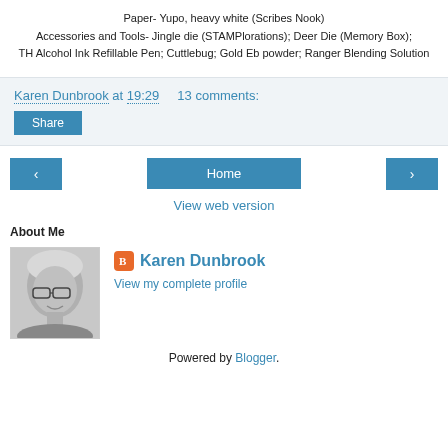Paper- Yupo, heavy white (Scribes Nook)
Accessories and Tools- Jingle die (STAMPlorations); Deer Die (Memory Box); TH Alcohol Ink Refillable Pen; Cuttlebug; Gold Eb powder; Ranger Blending Solution
Karen Dunbrook at 19:29    13 comments:
Share
Home
View web version
About Me
[Figure (photo): Black and white photo of Karen Dunbrook, a blonde woman wearing glasses, smiling]
Karen Dunbrook
View my complete profile
Powered by Blogger.